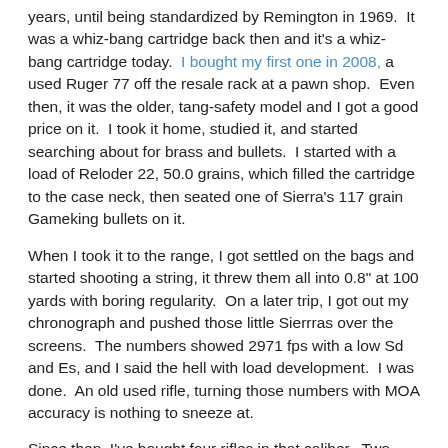years, until being standardized by Remington in 1969.  It was a whiz-bang cartridge back then and it's a whiz-bang cartridge today.  I bought my first one in 2008, a used Ruger 77 off the resale rack at a pawn shop.  Even then, it was the older, tang-safety model and I got a good price on it.  I took it home, studied it, and started searching about for brass and bullets.  I started with a load of Reloder 22, 50.0 grains, which filled the cartridge to the case neck, then seated one of Sierra's 117 grain Gameking bullets on it.
When I took it to the range, I got settled on the bags and started shooting a string, it threw them all into 0.8" at 100 yards with boring regularity.  On a later trip, I got out my chronograph and pushed those little Sierrras over the screens.  The numbers showed 2971 fps with a low Sd and Es, and I said the hell with load development.  I was done.  An old used rifle, turning those numbers with MOA accuracy is nothing to sneeze at.
Since then, I've bought four rifles in that caliber.  Two Savages, and another Ruger, and they all turn in great accuracy, each of then below MOA with that same load.  I